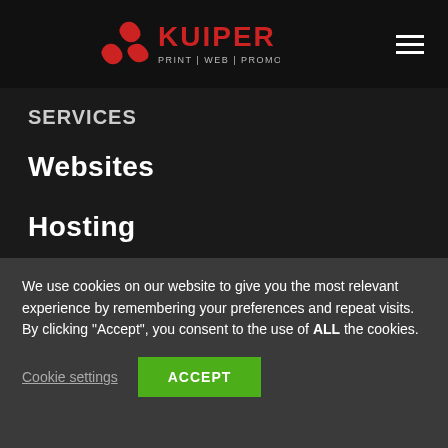KUIPER PRINT | WEB | PROMOTE
Services
Websites
Hosting
Maintenance
SEO
We use cookies on our website to give you the most relevant experience by remembering your preferences and repeat visits. By clicking “Accept”, you consent to the use of ALL the cookies.
Cookie settings  ACCEPT